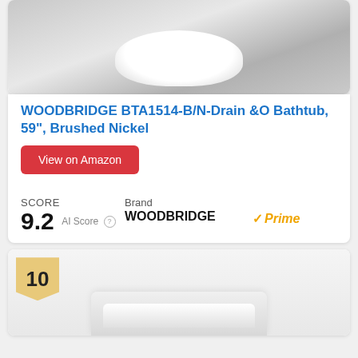[Figure (photo): White freestanding bathtub on marble tile floor, top portion of product card]
WOODBRIDGE BTA1514-B/N-Drain &O Bathtub, 59", Brushed Nickel
View on Amazon
SCORE 9.2 AI Score | Brand WOODBRIDGE | Prime
[Figure (photo): Second product card partially visible, rank badge showing number 10, white bathtub product image]